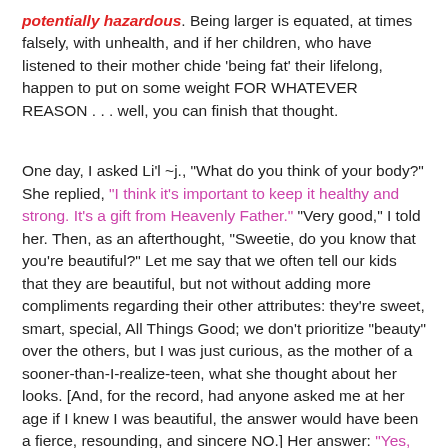potentially hazardous. Being larger is equated, at times falsely, with unhealth, and if her children, who have listened to their mother chide 'being fat' their lifelong, happen to put on some weight FOR WHATEVER REASON . . . well, you can finish that thought.
One day, I asked Li'l ~j., "What do you think of your body?" She replied, "I think it's important to keep it healthy and strong. It's a gift from Heavenly Father." "Very good," I told her. Then, as an afterthought, "Sweetie, do you know that you're beautiful?" Let me say that we often tell our kids that they are beautiful, but not without adding more compliments regarding their other attributes: they're sweet, smart, special, All Things Good; we don't prioritize "beauty" over the others, but I was just curious, as the mother of a sooner-than-I-realize-teen, what she thought about her looks. [And, for the record, had anyone asked me at her age if I knew I was beautiful, the answer would have been a fierce, resounding, and sincere NO.] Her answer: "Yes, but I don't like to talk about it, like bragging, because I don't think that's a nice thing to do."